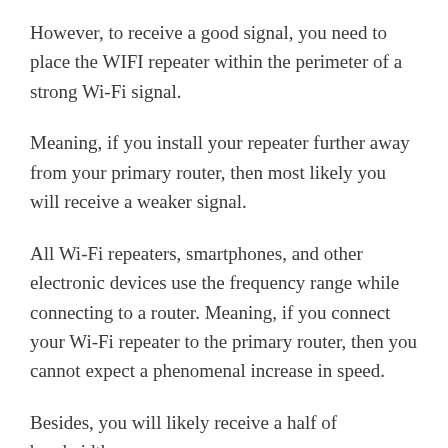However, to receive a good signal, you need to place the WIFI repeater within the perimeter of a strong Wi-Fi signal.
Meaning, if you install your repeater further away from your primary router, then most likely you will receive a weaker signal.
All Wi-Fi repeaters, smartphones, and other electronic devices use the frequency range while connecting to a router. Meaning, if you connect your Wi-Fi repeater to the primary router, then you cannot expect a phenomenal increase in speed.
Besides, you will likely receive a half of bandwidth.